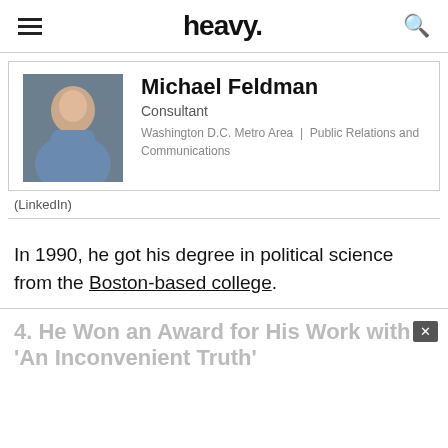heavy.
[Figure (photo): LinkedIn profile card screenshot showing Michael Feldman, a man with short hair wearing a blue shirt, professional headshot photo. Title: Consultant. Location: Washington D.C. Metro Area. Industry: Public Relations and Communications.]
(LinkedIn)
In 1990, he got his degree in political science from the Boston-based college.
4. He Won an Award for His Work with 'An Inconvenient Truth'